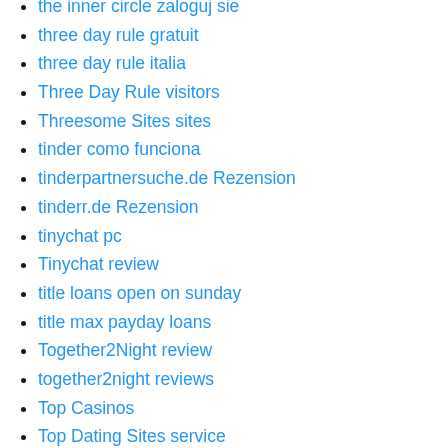the inner circle zaloguj sie
three day rule gratuit
three day rule italia
Three Day Rule visitors
Threesome Sites sites
tinder como funciona
tinderpartnersuche.de Rezension
tinderr.de Rezension
tinychat pc
Tinychat review
title loans open on sunday
title max payday loans
Together2Night review
together2night reviews
Top Casinos
Top Dating Sites service
top payday loan
tsdates visitors
tyler escort